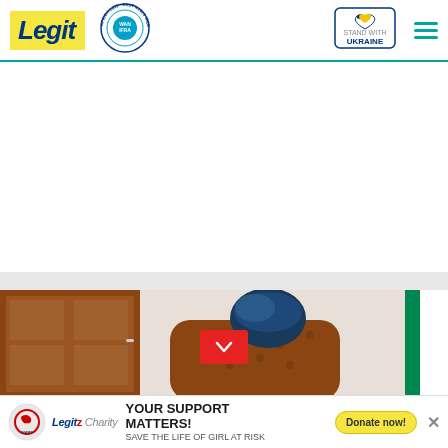Legit - Best News Website in Africa 2021 (WAN-IFRA) | Stand With Ukraine
[Figure (photo): Photo of a person wearing a blue traditional headwear, seated in a brown leather chair, with a wooden door on the left and a Nigerian flag partially visible on the right]
[Figure (infographic): Advertisement banner: WARF logo, Legit Charity logo, text 'YOUR SUPPORT MATTERS! SAVE THE LIFE OF GIRL AT RISK', Donate now button, close X button]